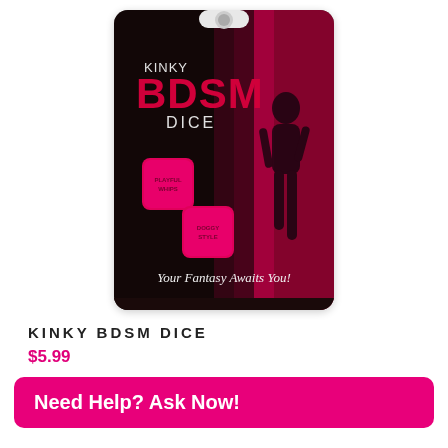[Figure (photo): Product packaging for Kinky BDSM Dice game. Dark/black background with pink/magenta accents. Shows silhouette of a woman, two pink dice with text 'PLAYFUL WHIPS' and 'DOGGY STYLE', and the tagline 'Your Fantasy Awaits You!' in script font. Top has a hang-tab hole.]
KINKY BDSM DICE
$5.99
Need Help? Ask Now!